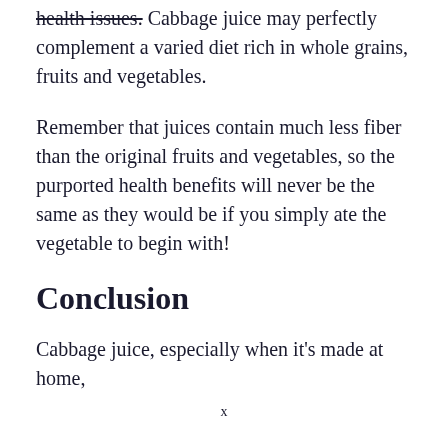health issues. Cabbage juice may perfectly complement a varied diet rich in whole grains, fruits and vegetables.
Remember that juices contain much less fiber than the original fruits and vegetables, so the purported health benefits will never be the same as they would be if you simply ate the vegetable to begin with!
Conclusion
Cabbage juice, especially when it's made at home,
x